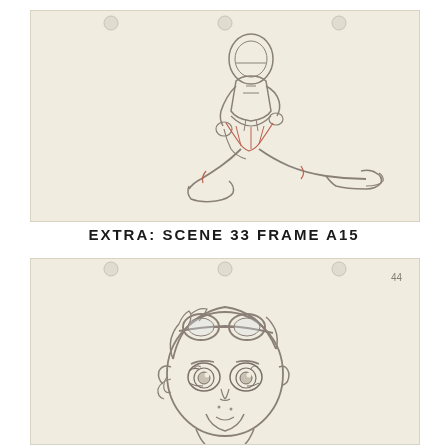[Figure (illustration): Animation production sketch on cream/aged paper showing a robotic or armored figure in a kneeling/lunging pose, drawn in pencil with some red/pink color accents on the lower body]
EXTRA: SCENE 33 FRAME A15
[Figure (illustration): Animation production sketch on cream/aged paper showing a close-up of a young child character's face with goggles on top of their head, drawn in pencil with short hair and large expressive eyes]